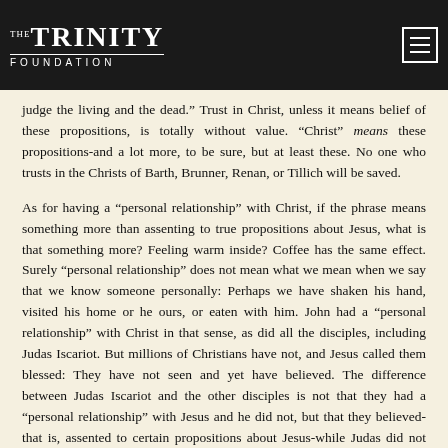The Trinity Foundation
judge the living and the dead.” Trust in Christ, unless it means belief of these propositions, is totally without value. “Christ” means these propositions-and a lot more, to be sure, but at least these. No one who trusts in the Christs of Barth, Brunner, Renan, or Tillich will be saved.
As for having a “personal relationship” with Christ, if the phrase means something more than assenting to true propositions about Jesus, what is that something more? Feeling warm inside? Coffee has the same effect. Surely “personal relationship” does not mean what we mean when we say that we know someone personally: Perhaps we have shaken his hand, visited his home or he ours, or eaten with him. John had a “personal relationship” with Christ in that sense, as did all the disciples, including Judas Iscariot. But millions of Christians have not, and Jesus called them blessed: They have not seen and yet have believed. The difference between Judas Iscariot and the other disciples is not that they had a “personal relationship” with Jesus and he did not, but that they believed-that is, assented to certain propositions about Jesus-while Judas did not believe those propositions. Belief of the truth, nothing more and nothing less, is what separates the saved from the damned. Those who maintain that there is something more than belief are, quite literally, beyond belief.
In the pages that follow [in Faith and Saving Faith], Dr. Clark defends the